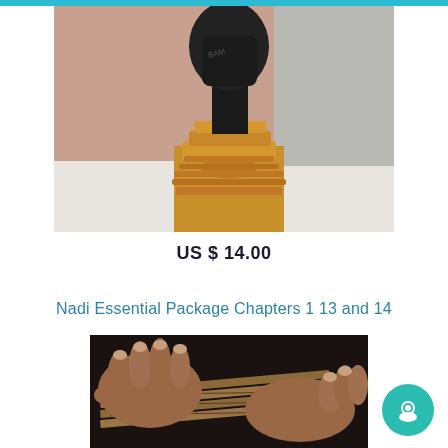[Figure (photo): Close-up photo of a golden brass Hindu idol/statue base on a white surface, with a gloved hand holding the top portion. The idol has ornate carved detailing.]
US $ 14.00
Nadi Essential Package Chapters 1 13 and 14
[Figure (photo): Close-up photo of hands holding and reading ancient palm leaf manuscripts with inscriptions.]